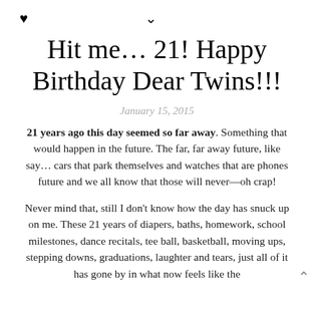♥  ∨
Hit me… 21! Happy Birthday Dear Twins!!!
January 15, 2015
21 years ago this day seemed so far away. Something that would happen in the future. The far, far away future, like say… cars that park themselves and watches that are phones future and we all know that those will never—oh crap!
Never mind that, still I don't know how the day has snuck up on me. These 21 years of diapers, baths, homework, school milestones, dance recitals, tee ball, basketball, moving ups, stepping downs, graduations, laughter and tears, just all of it has gone by in what now feels like the